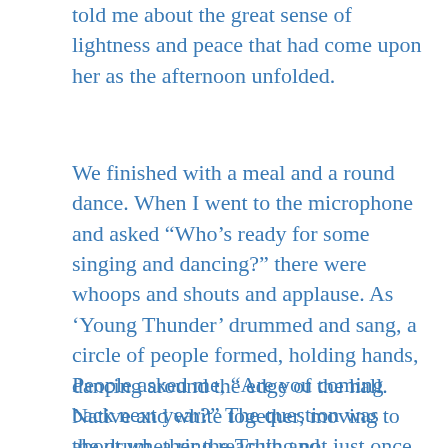told me about the great sense of lightness and peace that had come upon her as the afternoon unfolded.
We finished with a meal and a round dance. When I went to the microphone and asked “Who’s ready for some singing and dancing?” there were whoops and shouts and applause. As ‘Young Thunder’ drummed and sang, a circle of people formed, holding hands, dancing around the edge of the hall. Native and white together, moving to the drum, a ring reaching not just once around the hall, but in places two lines thick. A moment of declaration. A moment of hope.
People asked me, “Are you coming back next year?” The question was about whether the Truth and Reconciliation Commission, when it